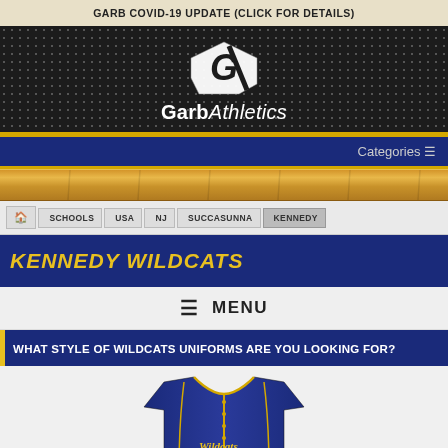GARB COVID-19 UPDATE (CLICK FOR DETAILS)
[Figure (logo): Garb Athletics logo with stylized G icon on dark perforated background]
Categories ≡
[Figure (photo): Wood texture decorative bar]
🏠 > SCHOOLS > USA > NJ > SUCCASUNNA > KENNEDY
KENNEDY WILDCATS
≡  MENU
WHAT STYLE OF WILDCATS UNIFORMS ARE YOU LOOKING FOR?
[Figure (photo): Navy blue and gold baseball jersey uniform]